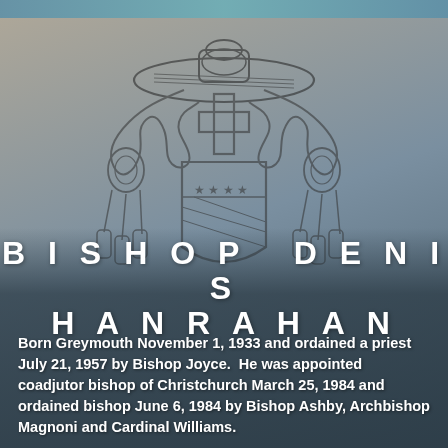[Figure (illustration): Heraldic coat of arms featuring a bishop's galero (wide-brimmed hat) at top with tasseled cords on both sides, a cross beneath the hat, and a shield below with diagonal stripes and five stars across the upper portion.]
BISHOP DENIS HANRAHAN
Born Greymouth November 1, 1933 and ordained a priest July 21, 1957 by Bishop Joyce.  He was appointed coadjutor bishop of Christchurch March 25, 1984 and ordained bishop June 6, 1984 by Bishop Ashby, Archbishop Magnoni and Cardinal Williams.